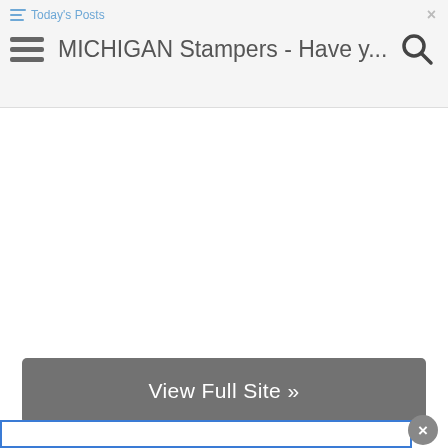Today's Posts | MICHIGAN Stampers - Have y... | ×
View Full Site »
© 2010-2023 MHB phpbb Collaborations Reserved.